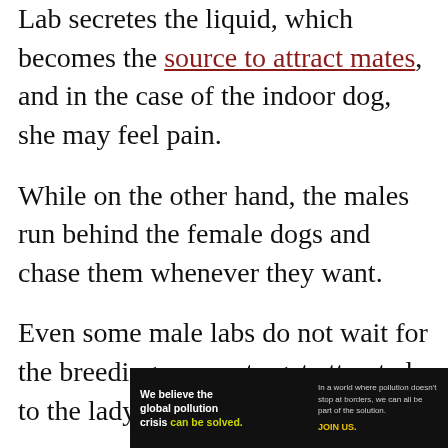Lab secretes the liquid, which becomes the source to attract mates, and in the case of the indoor dog, she may feel pain.
While on the other hand, the males run behind the female dogs and chase them whenever they want.
Even some male labs do not wait for the breeding season to get attracted to the lady lab.
[Figure (other): Advertisement banner for Pure Earth: 'We believe the global pollution crisis can be solved.' with tagline about pollution not stopping at borders and a call to action 'JOIN US.']